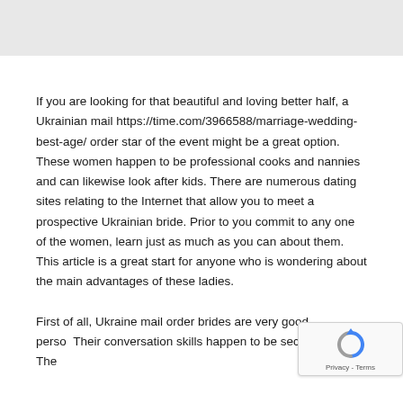If you are looking for that beautiful and loving better half, a Ukrainian mail https://time.com/3966588/marriage-wedding-best-age/ order star of the event might be a great option. These women happen to be professional cooks and nannies and can likewise look after kids. There are numerous dating sites relating to the Internet that allow you to meet a prospective Ukrainian bride. Prior to you commit to any one of the women, learn just as much as you can about them. This article is a great start for anyone who is wondering about the main advantages of these ladies.
First of all, Ukraine mail order brides are very good perso... Their conversation skills happen to be second to none. The